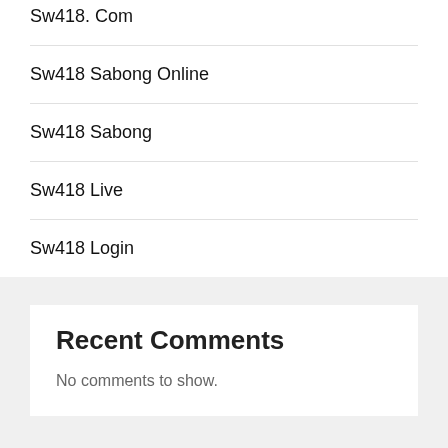Sw418. Com
Sw418 Sabong Online
Sw418 Sabong
Sw418 Live
Sw418 Login
Recent Comments
No comments to show.
Archives